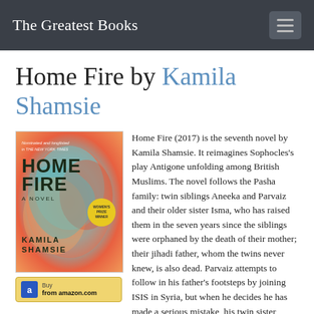The Greatest Books
Home Fire by Kamila Shamsie
[Figure (photo): Book cover of Home Fire by Kamila Shamsie with colorful swirling abstract design in orange, teal and coral tones]
Home Fire (2017) is the seventh novel by Kamila Shamsie. It reimagines Sophocles's play Antigone unfolding among British Muslims. The novel follows the Pasha family: twin siblings Aneeka and Parvaiz and their older sister Isma, who has raised them in the seven years since the siblings were orphaned by the death of their mother; their jihadi father, whom the twins never knew, is also dead. Parvaiz attempts to follow in his father's footsteps by joining ISIS in Syria, but when he decides he has made a serious mistake, his twin sister